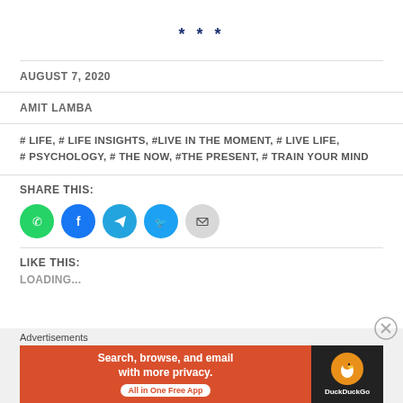* * *
AUGUST 7, 2020
AMIT LAMBA
# LIFE, # LIFE INSIGHTS, #LIVE IN THE MOMENT, # LIVE LIFE, # PSYCHOLOGY, # THE NOW, #THE PRESENT, # TRAIN YOUR MIND
SHARE THIS:
[Figure (infographic): Social share icons: WhatsApp (green), Facebook (blue), Telegram (blue), Twitter (light blue), Email (gray)]
LIKE THIS:
LOADING...
Advertisements
[Figure (infographic): DuckDuckGo advertisement banner: 'Search, browse, and email with more privacy. All in One Free App' with DuckDuckGo logo on dark background]